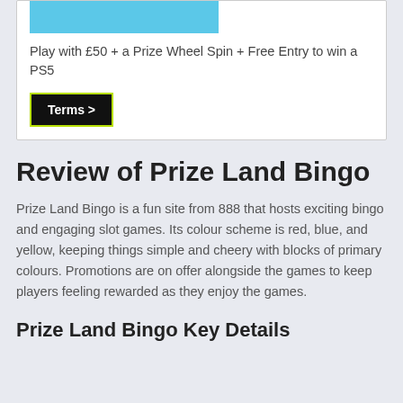[Figure (other): Blue banner/image placeholder at top of promotional card]
Play with £50 + a Prize Wheel Spin + Free Entry to win a PS5
Terms >
Review of Prize Land Bingo
Prize Land Bingo is a fun site from 888 that hosts exciting bingo and engaging slot games. Its colour scheme is red, blue, and yellow, keeping things simple and cheery with blocks of primary colours. Promotions are on offer alongside the games to keep players feeling rewarded as they enjoy the games.
Prize Land Bingo Key Details